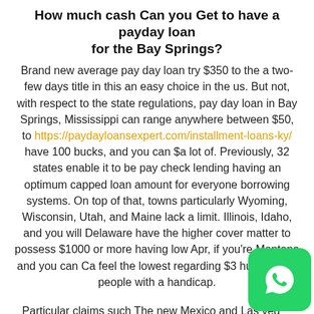How much cash Can you Get to have a payday loan for the Bay Springs?
Brand new average pay day loan try $350 to the a two-few days title in this an easy choice in the us. But not, with respect to the state regulations, pay day loan in Bay Springs, Mississippi can range anywhere between $50, to https://paydayloansexpert.com/installment-loans-ky/ have 100 bucks, and you can $a lot of. Previously, 32 states enable it to be pay check lending having an optimum capped loan amount for everyone borrowing systems. On top of that, towns particularly Wyoming, Wisconsin, Utah, and Maine lack a limit. Illinois, Idaho, and you will Delaware have the higher cover matter to possess $1000 or more having low Apr, if you're Montana and you can Ca feel the lowest regarding $3 hundred for people with a handicap.
Particular claims such The new Mexico and Las vegas don't have a lot of the latest pay-day loan to help you twenty-five% of your borrower's monthly payments.